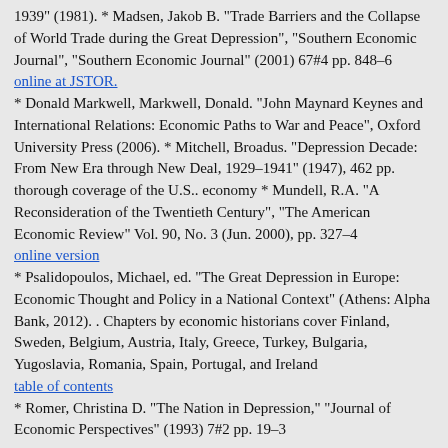1939" (1981). * Madsen, Jakob B. "Trade Barriers and the Collapse of World Trade during the Great Depression", "Southern Economic Journal", "Southern Economic Journal" (2001) 67#4 pp. 848–6 online at JSTOR. * Donald Markwell, Markwell, Donald. "John Maynard Keynes and International Relations: Economic Paths to War and Peace", Oxford University Press (2006). * Mitchell, Broadus. "Depression Decade: From New Era through New Deal, 1929–1941" (1947), 462 pp. thorough coverage of the U.S.. economy * Mundell, R.A. "A Reconsideration of the Twentieth Century", "The American Economic Review" Vol. 90, No. 3 (Jun. 2000), pp. 327–4 online version * Psalidopoulos, Michael, ed. "The Great Depression in Europe: Economic Thought and Policy in a National Context" (Athens: Alpha Bank, 2012). . Chapters by economic historians cover Finland, Sweden, Belgium, Austria, Italy, Greece, Turkey, Bulgaria, Yugoslavia, Romania, Spain, Portugal, and Ireland table of contents * Romer, Christina D. "The Nation in Depression," "Journal of Economic Perspectives" (1993) 7#2 pp. 19–3